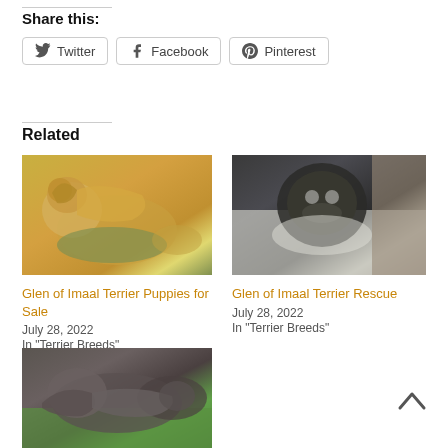Share this:
Twitter
Facebook
Pinterest
Related
[Figure (photo): Glen of Imaal Terrier adult dog standing on grass, golden/cream color, side profile]
Glen of Imaal Terrier Puppies for Sale
July 28, 2022
In "Terrier Breeds"
[Figure (photo): Glen of Imaal Terrier puppy in snow, dark/black coloring, looking at camera]
Glen of Imaal Terrier Rescue
July 28, 2022
In "Terrier Breeds"
[Figure (photo): Glen of Imaal Terrier adult dog standing on grass, dark brindle/grey color, side profile]